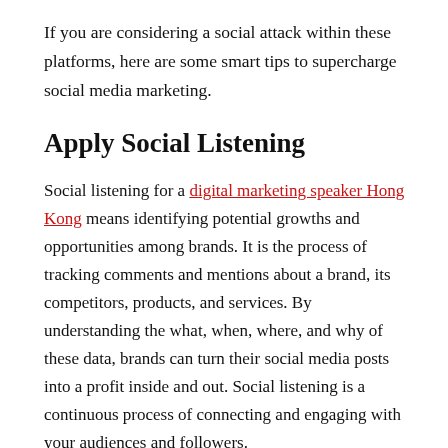If you are considering a social attack within these platforms, here are some smart tips to supercharge social media marketing.
Apply Social Listening
Social listening for a digital marketing speaker Hong Kong means identifying potential growths and opportunities among brands. It is the process of tracking comments and mentions about a brand, its competitors, products, and services. By understanding the what, when, where, and why of these data, brands can turn their social media posts into a profit inside and out. Social listening is a continuous process of connecting and engaging with your audiences and followers.